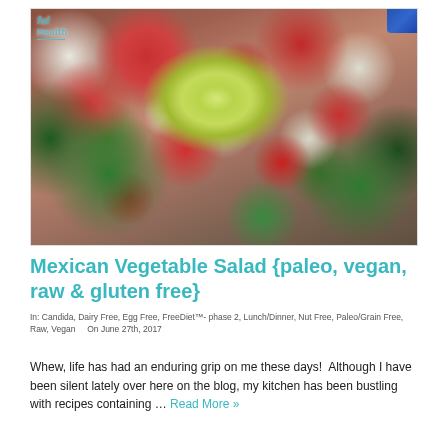[Figure (photo): Close-up photo of a colorful Mexican vegetable salad with chopped tomatoes, cucumbers, onions, and other vegetables, with a lettuce rose in the center, served on green leaves. A logo reading 'ful Health' appears in the top-left corner of the photo.]
Mexican Vegetable Salad {paleo, vegan, raw & gluten free}
In: Candida, Dairy Free, Egg Free, FreeDiet™- phase 2, Lunch/Dinner, Nut Free, Paleo/Grain Free, Raw, Vegan   On June 27th, 2017
Whew, life has had an enduring grip on me these days!  Although I have been silent lately over here on the blog, my kitchen has been bustling with recipes containing … Read More »